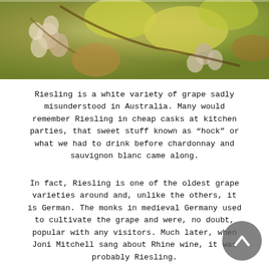[Figure (photo): Close-up photo of grape clusters and autumn leaves with yellow-green foliage]
Riesling is a white variety of grape sadly misunderstood in Australia. Many would remember Riesling in cheap casks at kitchen parties, that sweet stuff known as “hock” or what we had to drink before chardonnay and sauvignon blanc came along.
In fact, Riesling is one of the oldest grape varieties around and, unlike the others, it is German. The monks in medieval Germany used to cultivate the grape and were, no doubt, popular with any visitors. Much later, when Joni Mitchell sang about Rhine wine, it was probably Riesling.